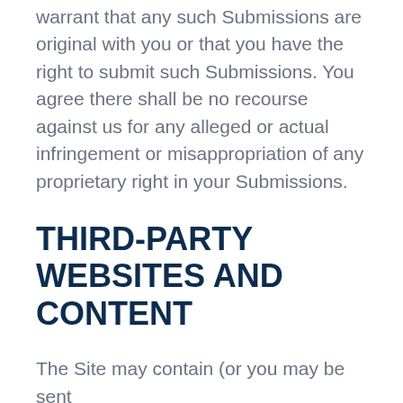warrant that any such Submissions are original with you or that you have the right to submit such Submissions. You agree there shall be no recourse against us for any alleged or actual infringement or misappropriation of any proprietary right in your Submissions.
THIRD-PARTY WEBSITES AND CONTENT
The Site may contain (or you may be sent